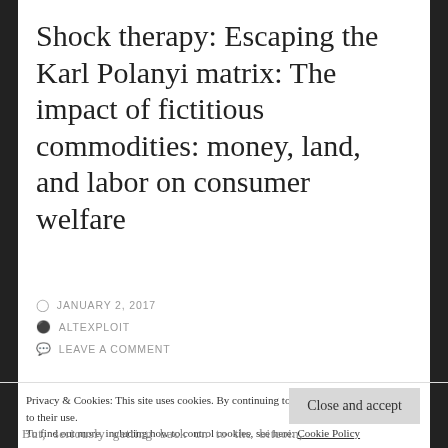Shock therapy: Escaping the Karl Polanyi matrix: The impact of fictitious commodities: money, land, and labor on consumer welfare
JANUARY 2, 2017
ALTEXPLOIT
LEAVE A COMMENT
Privacy & Cookies: This site uses cookies. By continuing to use this website, you agree to their use.
To find out more, including how to control cookies, see here: Cookie Policy
Close and accept
But, seriously getting back on to the bitcoin,